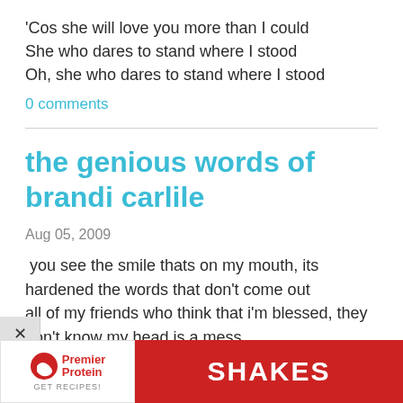'Cos she will love you more than I could
She who dares to stand where I stood
Oh, she who dares to stand where I stood
0 comments
the genious words of brandi carlile
Aug 05, 2009
you see the smile thats on my mouth, its hardened the words that don't come out
all of my friends who think that i'm blessed, they don't know my head is a mess
[Figure (other): Advertisement banner for Premier Protein showing logo on white background left side and red background with SHAKES text on right side]